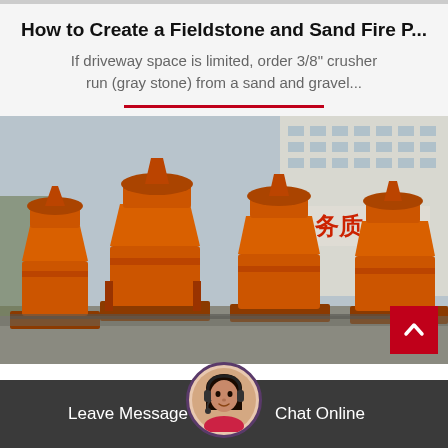How to Create a Fieldstone and Sand Fire P...
If driveway space is limited, order 3/8" crusher run (gray stone) from a sand and gravel...
[Figure (photo): Row of large orange industrial crusher/mill machines parked outdoors in a factory yard, with a multi-story building with Chinese characters in the background.]
Leave Message
Chat Online